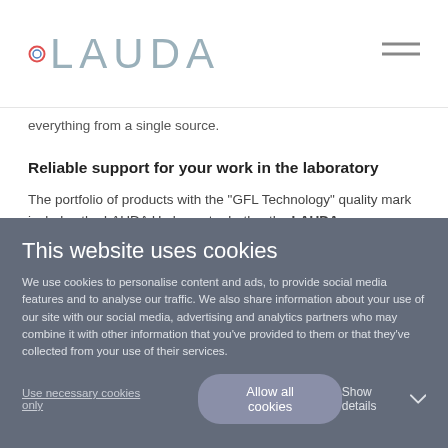°LAUDA
everything from a single source.
Reliable support for your work in the laboratory
The portfolio of products with the "GFL Technology" quality mark includes the LAUDA Hydro water baths, the LAUDA
This website uses cookies
We use cookies to personalise content and ads, to provide social media features and to analyse our traffic. We also share information about your use of our site with our social media, advertising and analytics partners who may combine it with other information that you've provided to them or that they've collected from your use of their services.
Use necessary cookies only | Allow all cookies | Show details